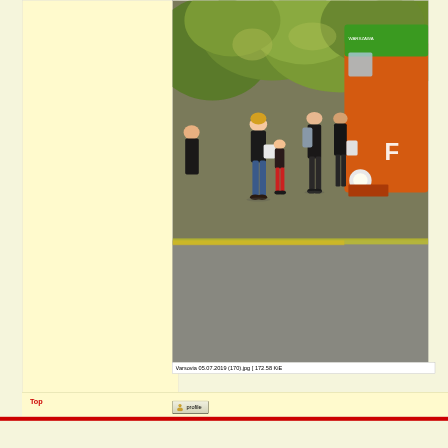[Figure (photo): Outdoor scene at a bus stop: several people standing near an orange coach bus with a green roof stripe. Trees with autumn foliage in background. A yellow curb stripe is visible on the ground.]
Varsovia 05.07.2019 (170).jpg [ 172.58 KiE
Top
[Figure (other): Profile button with person icon and label 'profile']